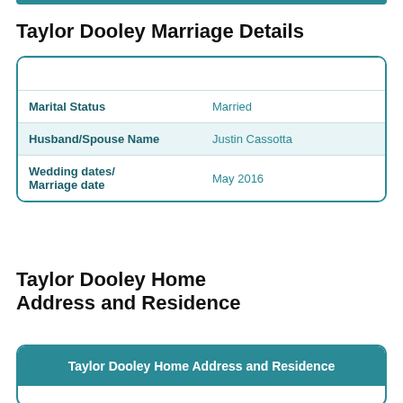Taylor Dooley Marriage Details
| Taylor Dooley Marriage Details |
| --- |
| Marital Status | Married |
| Husband/Spouse Name | Justin Cassotta |
| Wedding dates/ Marriage date | May 2016 |
Taylor Dooley Home Address and Residence
| Taylor Dooley Home Address and Residence |
| --- |